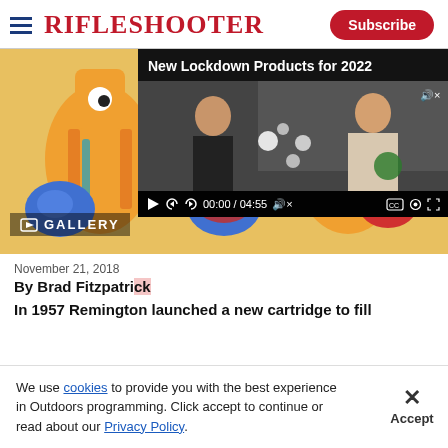RifleShooter | Subscribe
[Figure (illustration): Cartoon illustration of two anthropomorphic rifle cartridges boxing with blue and red gloves]
[Figure (screenshot): Embedded video player showing 'New Lockdown Products for 2022' with two people at a gun display, time 00:00 / 04:55]
November 21, 2018
By Brad Fitzpatri...
In 1957 Remington launched a new cartridge to fill
We use cookies to provide you with the best experience in Outdoors programming. Click accept to continue or read about our Privacy Policy.